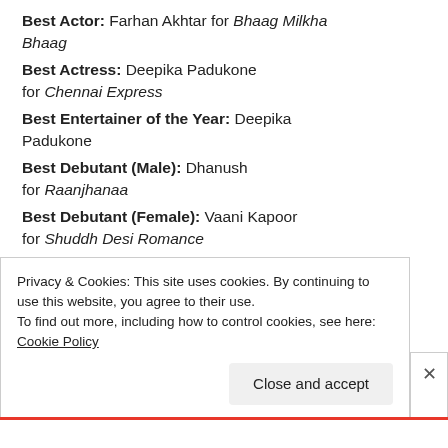Best Actor: Farhan Akhtar for Bhaag Milkha Bhaag
Best Actress: Deepika Padukone for Chennai Express
Best Entertainer of the Year: Deepika Padukone
Best Debutant (Male): Dhanush for Raanjhanaa
Best Debutant (Female): Vaani Kapoor for Shuddh Desi Romance
Best Supporting Actress: Divya Dutta for Bhaag Milkha Bhaag
Best Supporting Actor: Aditya Roy Kapur
Privacy & Cookies: This site uses cookies. By continuing to use this website, you agree to their use. To find out more, including how to control cookies, see here: Cookie Policy